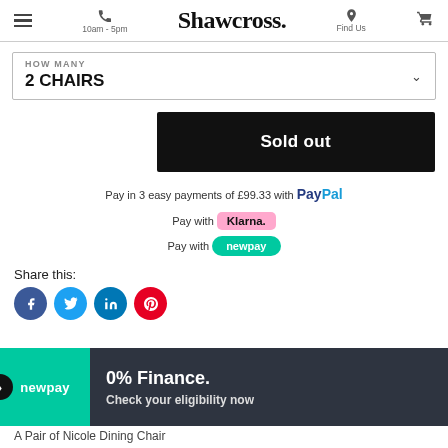Shawcross. — 10am - 5pm — Find Us
HOW MANY
2 CHAIRS
Sold out
Pay in 3 easy payments of £99.33 with PayPal
Pay with Klarna.
Pay with newpay
Share this:
[Figure (other): Social share icons: Facebook, Twitter, LinkedIn, Pinterest]
0% Finance. Check your eligibility now
A Pair of Nicole Dining Chair